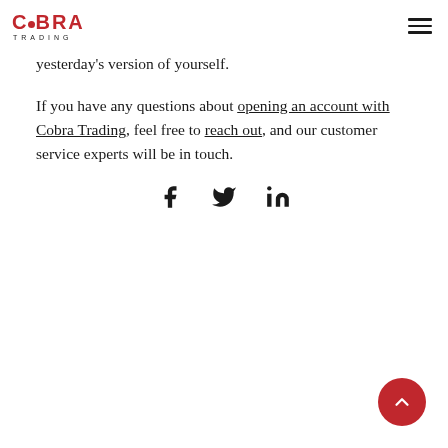Cobra Trading
yesterday's version of yourself.
If you have any questions about opening an account with Cobra Trading, feel free to reach out, and our customer service experts will be in touch.
[Figure (other): Social share icons: Facebook, Twitter, LinkedIn]